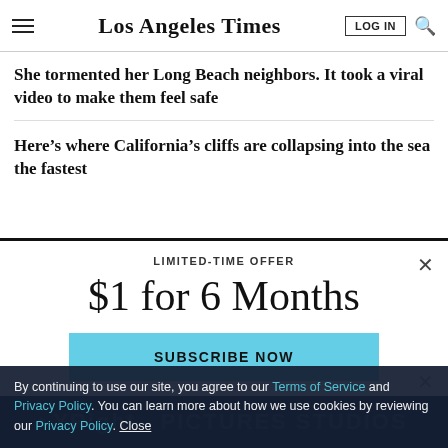Los Angeles Times
She tormented her Long Beach neighbors. It took a viral video to make them feel safe
Here’s where California’s cliffs are collapsing into the sea the fastest
LIMITED-TIME OFFER
$1 for 6 Months
SUBSCRIBE NOW
By continuing to use our site, you agree to our Terms of Service and Privacy Policy. You can learn more about how we use cookies by reviewing our Privacy Policy. Close